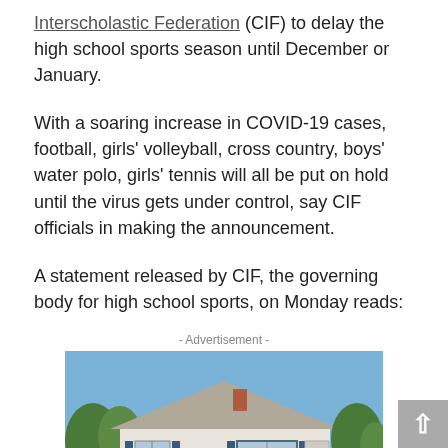Interscholastic Federation (CIF) to delay the high school sports season until December or January.
With a soaring increase in COVID-19 cases, football, girls' volleyball, cross country, boys' water polo, girls' tennis will all be put on hold until the virus gets under control, say CIF officials in making the announcement.
A statement released by CIF, the governing body for high school sports, on Monday reads:
- Advertisement -
[Figure (photo): Photograph of a single-story ranch-style house with a gray roof, blue shutters, white exterior, and green shrubs in front, under a blue sky.]